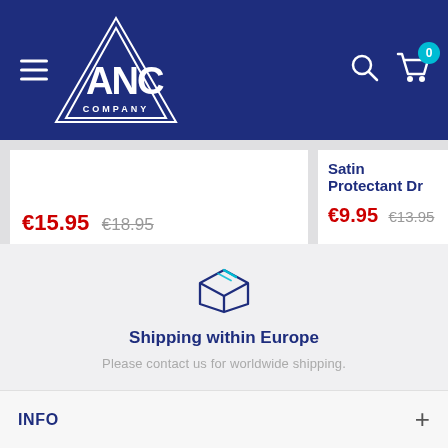ANC Company — navigation header with logo, hamburger menu, search icon, cart (0)
€15.95  €18.95
Satin Protectant Dr
€9.95  €13.95
[Figure (illustration): Box/package icon outline in dark blue with teal accent lines]
Shipping within Europe
Please contact us for worldwide shipping.
INFO
+